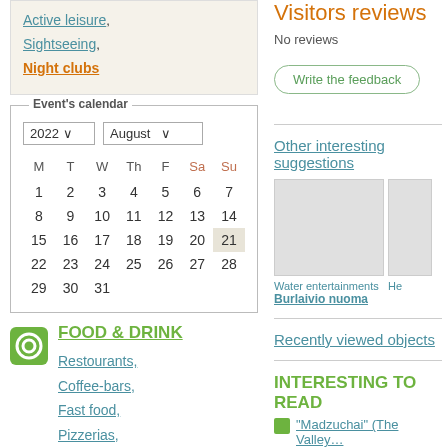Active leisure,
Sightseeing,
Night clubs
Visitors reviews
No reviews
Write the feedback
| M | T | W | Th | F | Sa | Su |
| --- | --- | --- | --- | --- | --- | --- |
| 1 | 2 | 3 | 4 | 5 | 6 | 7 |
| 8 | 9 | 10 | 11 | 12 | 13 | 14 |
| 15 | 16 | 17 | 18 | 19 | 20 | 21 |
| 22 | 23 | 24 | 25 | 26 | 27 | 28 |
| 29 | 30 | 31 |  |  |  |  |
FOOD & DRINK
Restourants,
Coffee-bars,
Fast food,
Pizzerias,
Meal to home
Other interesting suggestions
Water entertainments
Burlaivio nuoma
Recently viewed objects
INTERESTING TO READ
“Madzuchai” (The Valley…